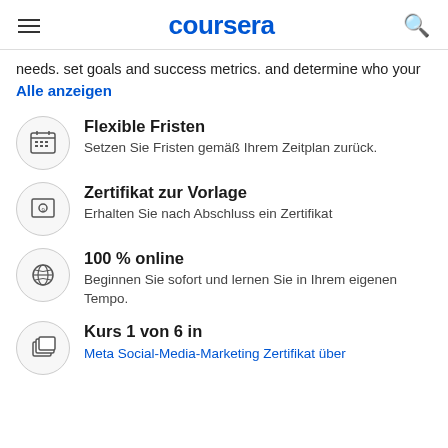coursera
needs. set goals and success metrics. and determine who your
Alle anzeigen
Flexible Fristen – Setzen Sie Fristen gemäß Ihrem Zeitplan zurück.
Zertifikat zur Vorlage – Erhalten Sie nach Abschluss ein Zertifikat
100 % online – Beginnen Sie sofort und lernen Sie in Ihrem eigenen Tempo.
Kurs 1 von 6 in – Meta Social-Media-Marketing Zertifikat über